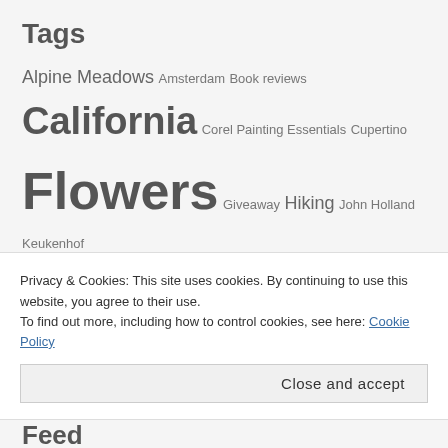Tags
Alpine Meadows
Amsterdam
Book reviews
California
Corel Painting Essentials
Cupertino
Flowers
Giveaway
Hiking
John Holland
Keukenhof Gardens
Lake Tahoe
Outdoors
Photography
Photo manipulation
Queensland
Rancho San Antonio
Romance
Skiing
Squaw Valley
The Louvre
The Wild Rose Press
Townsville
Townsville Australia
Privacy & Cookies: This site uses cookies. By continuing to use this website, you agree to their use.
To find out more, including how to control cookies, see here: Cookie Policy
Close and accept
Feed